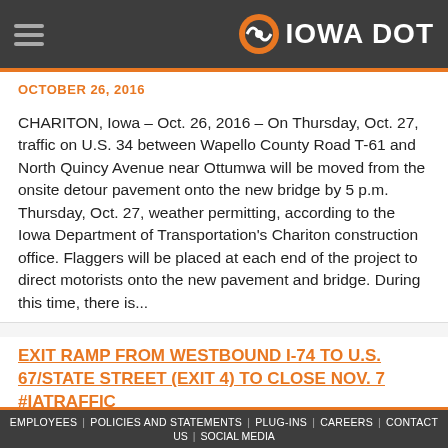Iowa DOT
OCTOBER 26, 2016
CHARITON, Iowa – Oct. 26, 2016 – On Thursday, Oct. 27, traffic on U.S. 34 between Wapello County Road T-61 and North Quincy Avenue near Ottumwa will be moved from the onsite detour pavement onto the new bridge by 5 p.m. Thursday, Oct. 27, weather permitting, according to the Iowa Department of Transportation's Chariton construction office. Flaggers will be placed at each end of the project to direct motorists onto the new pavement and bridge. During this time, there is...
EXIT RAMP FROM WESTBOUND I-74 TO U.S. 67/STATE STREET (EXIT 4) TO CLOSE NOV. 7 #IATRAFFIC
EMPLOYEES | POLICIES AND STATEMENTS | PLUG-INS | CAREERS | CONTACT US | SOCIAL MEDIA